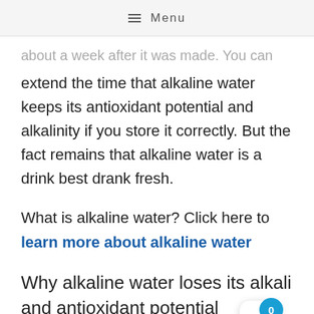≡ Menu
about a week after it was made. You can extend the time that alkaline water keeps its antioxidant potential and alkalinity if you store it correctly. But the fact remains that alkaline water is a drink best drank fresh.
What is alkaline water? Click here to learn more about alkaline water
Why alkaline water loses its alkali and antioxidant potential